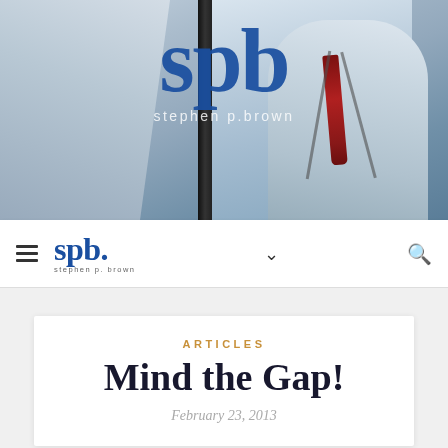[Figure (photo): Hero banner photo of a man in a white shirt adjusting his tie while looking in a mirror, with SPB (Stephen P. Brown) logo overlaid in large blue letters, and 'stephen p brown' text beneath]
spb stephen p. brown — navigation bar with hamburger menu, logo, chevron dropdown, and search icon
ARTICLES
Mind the Gap!
February 23, 2013